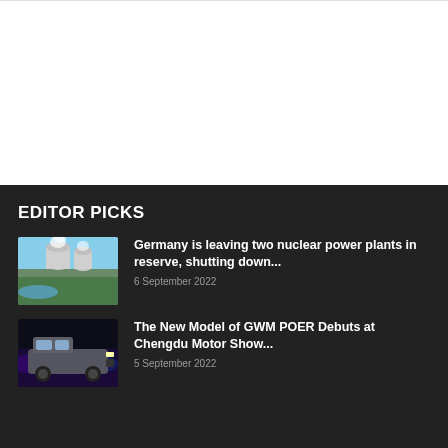EDITOR PICKS
[Figure (photo): Aerial view of a nuclear power plant with cooling towers emitting steam, surrounded by green landscape and a town.]
Germany is leaving two nuclear power plants in reserve, shutting down...
6 September 2022
[Figure (photo): GWM POER pickup truck on display at Chengdu Motor Show, dark background with purple/blue lighting.]
The New Model of GWM POER Debuts at Chengdu Motor Show...
5 September 2022